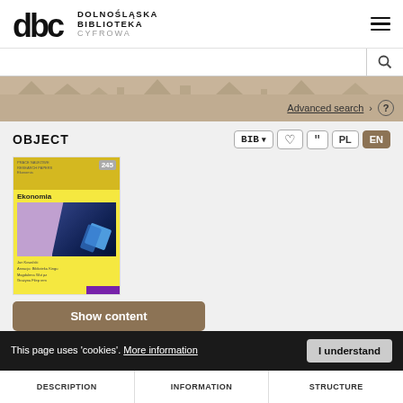[Figure (logo): DBC Dolnośląska Biblioteka Cyfrowa logo with hamburger menu]
OBJECT
[Figure (illustration): Book cover thumbnail for Ekonomia journal issue 245]
Show content
Download
This page uses 'cookies'. More information
I understand
| DESCRIPTION | INFORMATION | STRUCTURE |
| --- | --- | --- |